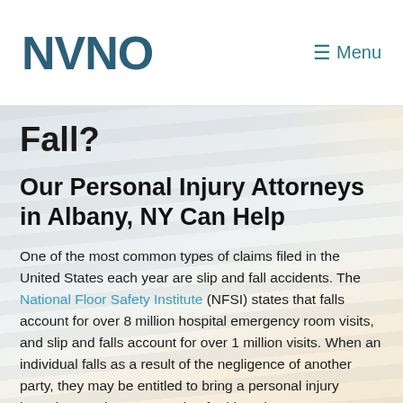NVNO
☰ Menu
Fall?
Our Personal Injury Attorneys in Albany, NY Can Help
One of the most common types of claims filed in the United States each year are slip and fall accidents. The National Floor Safety Institute (NFSI) states that falls account for over 8 million hospital emergency room visits, and slip and falls account for over 1 million visits. When an individual falls as a result of the negligence of another party, they may be entitled to bring a personal injury lawsuit to seek compensation for his or her injuries. Slip and fall are followed by other types of...